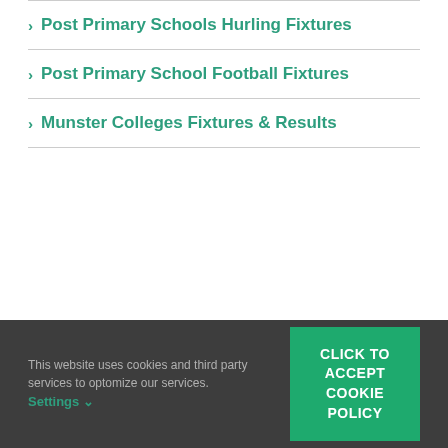Post Primary Schools Hurling Fixtures
Post Primary School Football Fixtures
Munster Colleges Fixtures & Results
This website uses cookies and third party services to optomize our services. Settings  CLICK TO ACCEPT COOKIE POLICY